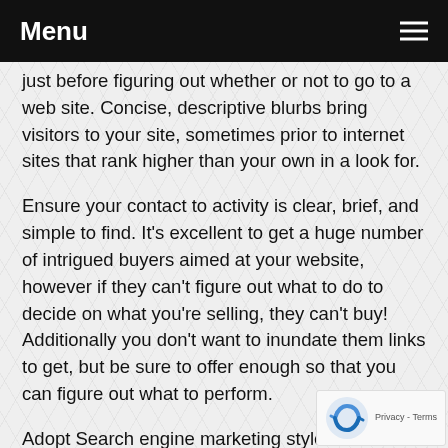Menu
just before figuring out whether or not to go to a web site. Concise, descriptive blurbs bring visitors to your site, sometimes prior to internet sites that rank higher than your own in a look for.
Ensure your contact to activity is clear, brief, and simple to find. It's excellent to get a huge number of intrigued buyers aimed at your website, however if they can't figure out what to do to decide on what you're selling, they can't buy! Additionally you don't want to inundate them links to get, but be sure to offer enough so that you can figure out what to perform.
Adopt Search engine marketing style when writing. This implies reiterating initial key phrases and associated a…